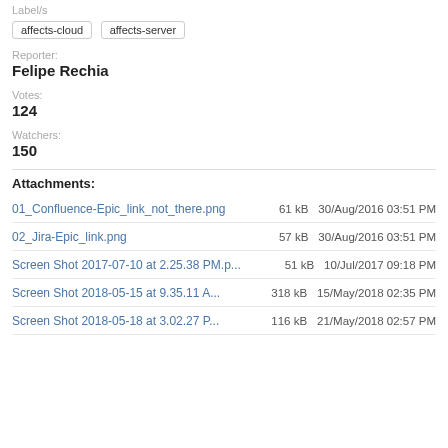Label/s
affects-cloud   affects-server
Reporter:
Felipe Rechia
Votes:
124
Watchers:
150
Attachments:
| Filename | Size | Date |
| --- | --- | --- |
| 01_Confluence-Epic_link_not_there.png | 61 kB | 30/Aug/2016 03:51 PM |
| 02_Jira-Epic_link.png | 57 kB | 30/Aug/2016 03:51 PM |
| Screen Shot 2017-07-10 at 2.25.38 PM.p... | 51 kB | 10/Jul/2017 09:18 PM |
| Screen Shot 2018-05-15 at 9.35.11 A... | 318 kB | 15/May/2018 02:35 PM |
| Screen Shot 2018-05-18 at 3.02.27 P... | 116 kB | 21/May/2018 02:57 PM |